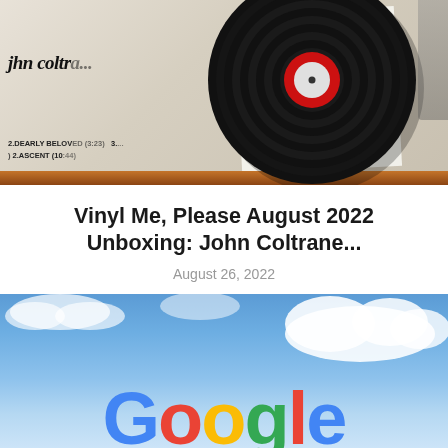[Figure (photo): Photo of a John Coltrane vinyl record (black LP) partially out of its sleeve, showing the record label in red. The sleeve shows text 'john coltr...' and track listings including '2. DEARLY BELOVED' and '2. ASCENT'. Wooden surface visible at bottom edge.]
Vinyl Me, Please August 2022 Unboxing: John Coltrane...
August 26, 2022
[Figure (photo): Photo of a large Google logo sign against a blue sky with white clouds. The colorful Google letters (blue G, red o, yellow o, green g, red l, blue e) are visible at the bottom of the frame.]